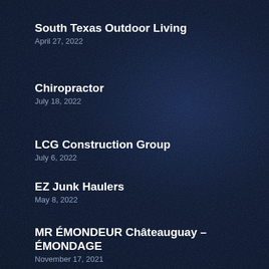South Texas Outdoor Living
April 27, 2022
Chiropractor
July 18, 2022
LCG Construction Group
July 6, 2022
EZ Junk Haulers
May 8, 2022
MR ÉMONDEUR Châteauguay – ÉMONDAGE
November 17, 2021